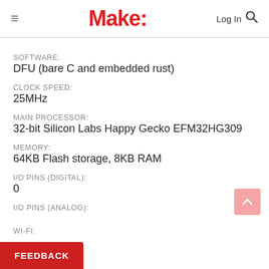Make:
SOFTWARE:
DFU (bare C and embedded rust)
CLOCK SPEED:
25MHz
MAIN PROCESSOR:
32-bit Silicon Labs Happy Gecko EFM32HG309
MEMORY:
64KB Flash storage, 8KB RAM
I/O PINS (DIGITAL):
0
I/O PINS (ANALOG):
WI-FI: